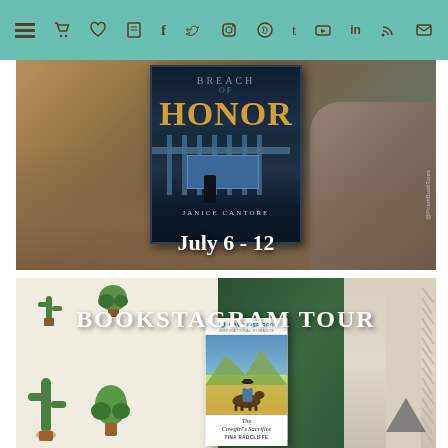[Figure (screenshot): Navigation bar with hamburger menu and social media icons (cart, heart, book, facebook, twitter, instagram, pinterest, tumblr, youtube, linkedin, rss, email) on teal/mint green background]
[Figure (photo): Book tour promotional image for 'Breach of Honor' by Janice Cantore showing the book cover against a rocky desert background with text 'July 6 - 12' and '@PrismBookTours' watermark]
[Figure (photo): Bookstagram Tour promotional image for 'The Cowgirl's Sacrifice' by Tina Radcliffe (Love Inspired Inspirational Romance) showing book against cactus-printed fabric and green pillows with 'BOOKSTAGRAM TOUR' text overlay]